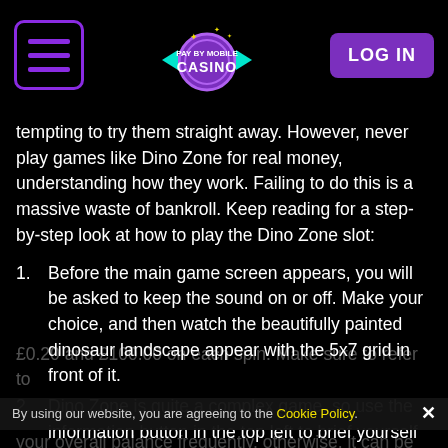[Figure (logo): Pay By Mobile Casino logo with purple poker chip and arrows]
tempting to try them straight away. However, never play games like Dino Zone for real money, understanding how they work. Failing to do this is a massive waste of bankroll. Keep reading for a step-by-step look at how to play the Dino Zone slot:
Before the main game screen appears, you will be asked to keep the sound on or off. Make your choice, and then watch the beautifully painted dinosaur landscape appear with the 5x7 grid in front of it.
Dino Zone is quite a complex game, so use the information button in the top left to brief yourself on the various bonuses and expanding reels.
Players can set their bets using the stacked coin icon in the bottom left. You are free to choose between £0.20 and £100.00 on each spin. Make sure to refer to your overall balance frequently, otherwise, it can be
By using our website, you are agreeing to the Cookie Policy.